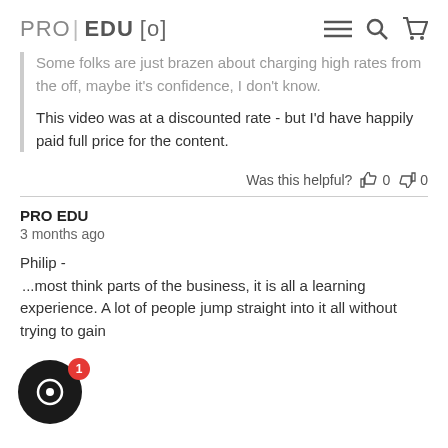PRO EDU [o]
Some folks are just brazen about charging high rates from the off, maybe it's confidence, I don't know.
This video was at a discounted rate - but I'd have happily paid full price for the content.
Was this helpful?  0  0
PRO EDU
3 months ago
Philip -
...most think parts of the business, it is all a learning experience. A lot of people jump straight into it all without trying to gain